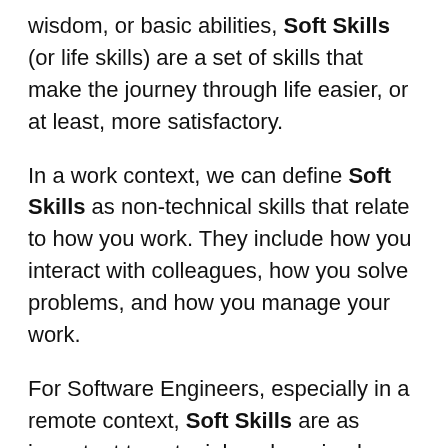wisdom, or basic abilities, Soft Skills (or life skills) are a set of skills that make the journey through life easier, or at least, more satisfactory.
In a work context, we can define Soft Skills as non-technical skills that relate to how you work. They include how you interact with colleagues, how you solve problems, and how you manage your work.
For Software Engineers, especially in a remote context, Soft Skills are as important to get a job as knowing how to program.
But there's more, many companies hire almost